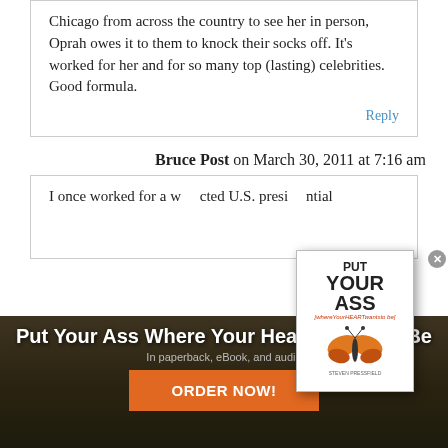Chicago from across the country to see her in person, Oprah owes it to them to knock their socks off. It's worked for her and for so many top (lasting) celebrities. Good formula.
Reply
Bruce Post on March 30, 2011 at 7:16 am
I once worked for a w    cted U.S. presidential
[Figure (illustration): Book cover popup for 'Put Your Ass Where Your Heart Wants to Be' with a close button, featuring a butterfly graphic, overlaid on the text with a dark background banner below showing the book title, subtitle 'In paperback, eBook, and audio', and an orange ORDER NOW! button.]